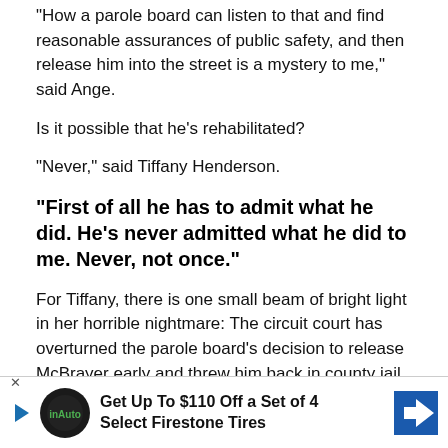"How a parole board can listen to that and find reasonable assurances of public safety, and then release him into the street is a mystery to me," said Ange.
Is it possible that he's rehabilitated?
"Never," said Tiffany Henderson.
"First of all he has to admit what he did. He's never admitted what he did to me. Never, not once."
For Tiffany, there is one small beam of bright light in her horrible nightmare: The circuit court has overturned the parole board's decision to release McBrayer early and threw him back in county jail. That came after Tiffany filed a motion to have her former stepdad rearrested, and to challenge the board's release.
Kerry Ange says the original decision to release him for good behavior and McBrayer's claim of rehabilitation meant nothing
[Figure (infographic): Advertisement banner: Get Up To $110 Off a Set of 4 Select Firestone Tires with dealership logo and navigation icon]